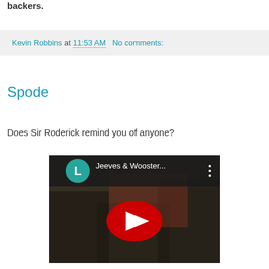backers.
Kevin Robbins at 11:53 AM   No comments:
Spode
Does Sir Roderick remind you of anyone?
[Figure (screenshot): YouTube video thumbnail showing 'Jeeves & Wooster...' with a teal circle avatar with letter L, a red YouTube play button overlay on a dark image of people outdoors, and a vertical dots menu icon.]